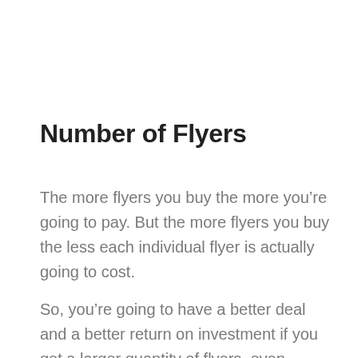Number of Flyers
The more flyers you buy the more you’re going to pay. But the more flyers you buy the less each individual flyer is actually going to cost.
So, you’re going to have a better deal and a better return on investment if you get a larger quantity of flyers, even